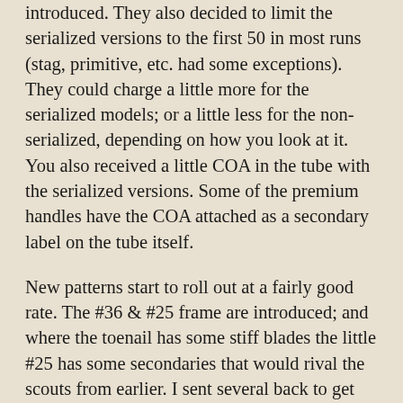introduced.  They also decided to limit the serialized versions to the first 50 in most runs (stag, primitive, etc. had some exceptions). They could charge a little more for the serialized models; or a little less for the non-serialized, depending on how you look at it. You also received a little COA in the tube with the serialized versions.  Some of the premium handles have the COA attached as a secondary label on the tube itself.
New patterns start to roll out at a fairly good rate.  The #36 & #25 frame are introduced; and where the toenail has some stiff blades the little #25 has some secondaries that would rival the scouts from earlier.  I sent several back to get them loosened up a little.  There were a handful that I literally never got open until sending them in for work.
One confusing point is that each year Great Eastern did not finalize the previous years production count until May or June because they would still be using blades stamped with the previous year. Instead of making transitions knives as they did in 2006/2007, they just held the production numbers until they had the previous years blades moved thru the factory. Other makers do this, but they don't get caught as much because they don't publish production